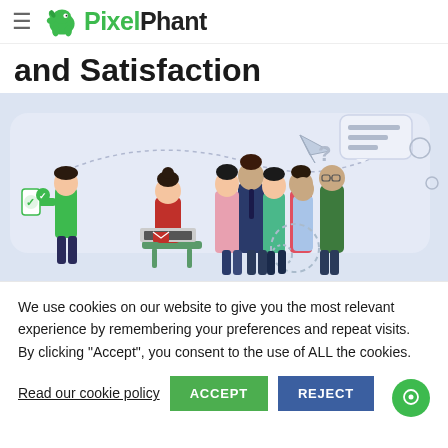PixelPhant
and Satisfaction
[Figure (illustration): Illustration showing people communicating and interacting: a person holding a phone with a checkmark, a woman at a laptop with email icon, and a group of people standing together smiling, on a light blue/lavender background with chat bubbles and a paper plane icon.]
We use cookies on our website to give you the most relevant experience by remembering your preferences and repeat visits. By clicking “Accept”, you consent to the use of ALL the cookies.
Read our cookie policy  ACCEPT  REJECT